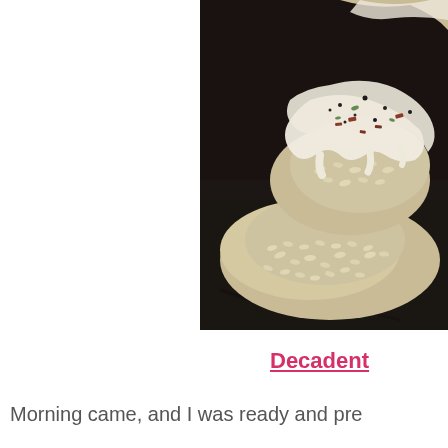[Figure (photo): Close-up food photo of rice topped with creamy white sauce, bacon bits, and herbs, served on a dark slate surface]
Decadent
Morning came, and I was ready and pre